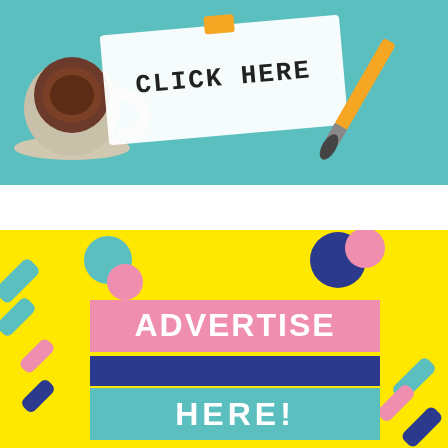[Figure (illustration): Top banner: illustration on teal/light blue background showing a coffee cup on the left, a white paper/card with 'CLICK HERE' written on it in marker style, and a paintbrush on the right side.]
[Figure (illustration): Bottom banner: bright yellow background advertisement placeholder with colorful diagonal stripe decorations (blue, pink) and two circular decorations top-left and top-right. Three colored text blocks stacked: pink block with 'ADVERTISE', dark navy blue block (empty/line), and light blue block with 'HERE!'. Text is bold white.]